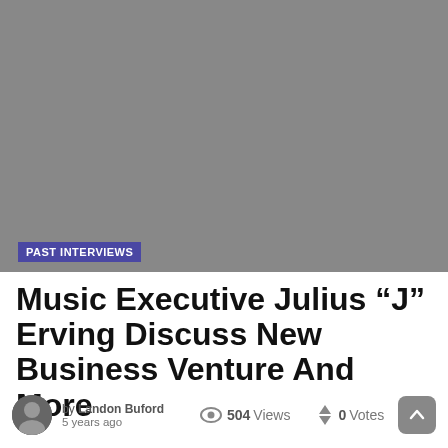[Figure (photo): Hero image placeholder — gray background]
PAST INTERVIEWS
Music Executive Julius “J” Erving Discuss New Business Venture And More
by Landon Buford  5 years ago  504 Views  0 Votes